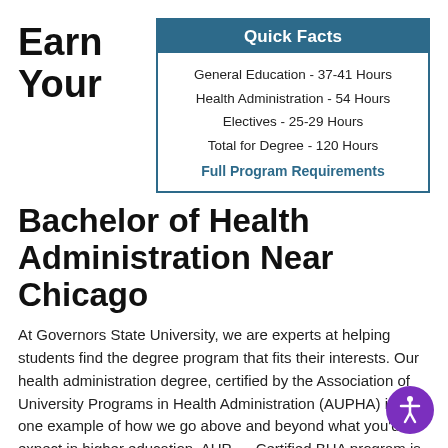Earn Your
| Quick Facts |
| --- |
| General Education - 37-41 Hours |
| Health Administration - 54 Hours |
| Electives - 25-29 Hours |
| Total for Degree - 120 Hours |
| Full Program Requirements |
Bachelor of Health Administration Near Chicago
At Governors State University, we are experts at helping students find the degree program that fits their interests. Our health administration degree, certified by the Association of University Programs in Health Administration (AUPHA) is just one example of how we go above and beyond what you'd expect in higher education. AUPHA Certified BHA program is recognized for having withstood the rigors of peer review in which curricula, faculty, and